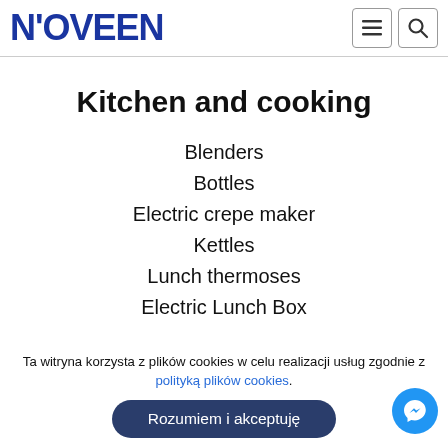N'OVEEN
Kitchen and cooking
Blenders
Bottles
Electric crepe maker
Kettles
Lunch thermoses
Electric Lunch Box
Ta witryna korzysta z plików cookies w celu realizacji usług zgodnie z polityką plików cookies.
Rozumiem i akceptuję